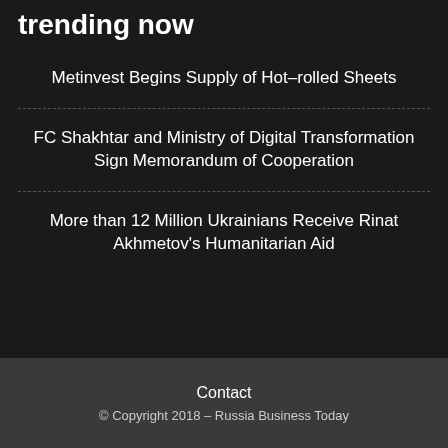trending now
Metinvest Begins Supply of Hot-rolled Sheets
FC Shakhtar and Ministry of Digital Transformation Sign Memorandum of Cooperation
More than 12 Million Ukrainians Receive Rinat Akhmetov's Humanitarian Aid
Contact
© Copyright 2018 – Russia Business Today